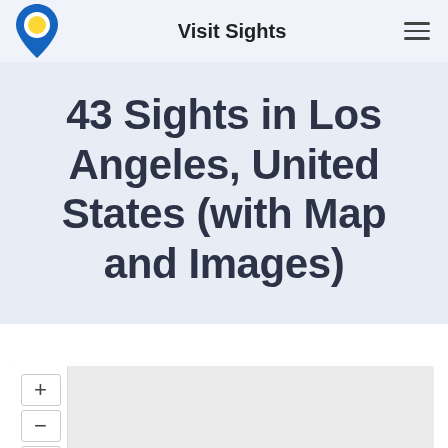Visit Sights
43 Sights in Los Angeles, United States (with Map and Images)
[Figure (map): Interactive map showing sights in Los Angeles, United States, with zoom controls (+, -, compass) on the left side panel and a grey map background.]